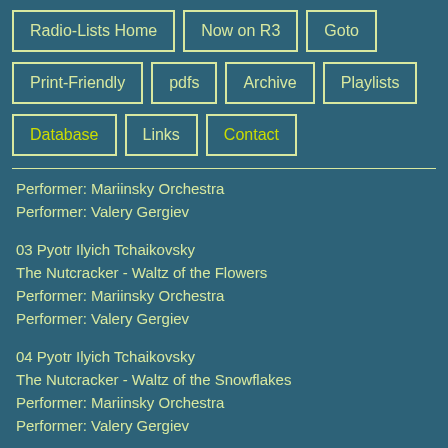Radio-Lists Home
Now on R3
Goto
Print-Friendly
pdfs
Archive
Playlists
Database
Links
Contact
Performer: Mariinsky Orchestra
Performer: Valery Gergiev
03 Pyotr Ilyich Tchaikovsky
The Nutcracker - Waltz of the Flowers
Performer: Mariinsky Orchestra
Performer: Valery Gergiev
04 Pyotr Ilyich Tchaikovsky
The Nutcracker - Waltz of the Snowflakes
Performer: Mariinsky Orchestra
Performer: Valery Gergiev
05 Pyotr Ilyich Tchaikovsky
The Nutcracker - Russian Dance
Performer: Mariinsky Orchestra